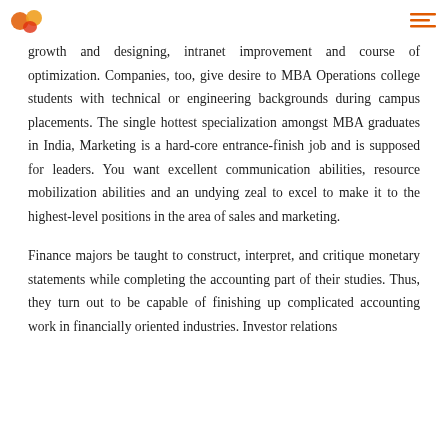[Logo and menu icon]
growth and designing, intranet improvement and course of optimization. Companies, too, give desire to MBA Operations college students with technical or engineering backgrounds during campus placements. The single hottest specialization amongst MBA graduates in India, Marketing is a hard-core entrance-finish job and is supposed for leaders. You want excellent communication abilities, resource mobilization abilities and an undying zeal to excel to make it to the highest-level positions in the area of sales and marketing.
Finance majors be taught to construct, interpret, and critique monetary statements while completing the accounting part of their studies. Thus, they turn out to be capable of finishing up complicated accounting work in financially oriented industries. Investor relations